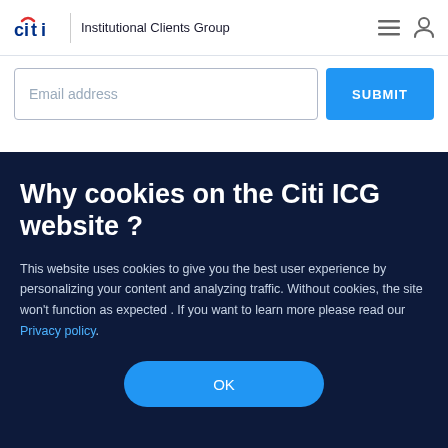citi | Institutional Clients Group
Email address
SUBMIT
Why cookies on the Citi ICG website ?
This website uses cookies to give you the best user experience by personalizing your content and analyzing traffic. Without cookies, the site won't function as expected . If you want to learn more please read our Privacy policy.
OK